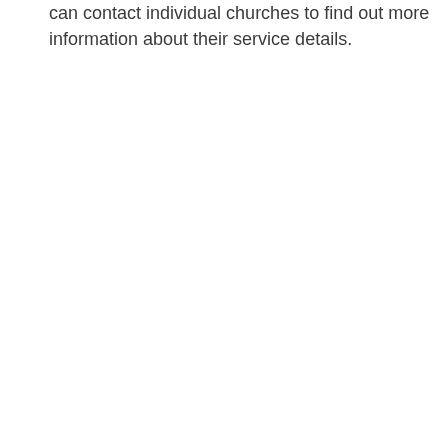can contact individual churches to find out more information about their service details.